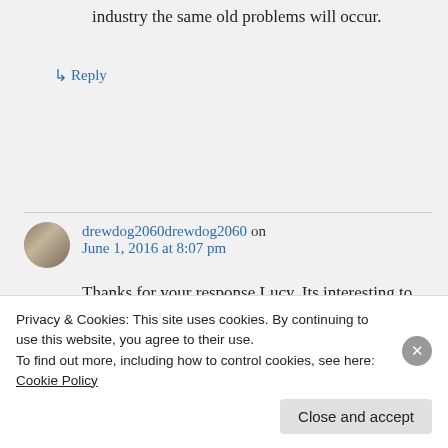industry the same old problems will occur.
↳ Reply
drewdog2060drewdog2060 on June 1, 2016 at 8:07 pm
Thanks for your response Lucy. Its interesting to note that many police officers appear to be in favour of a
Privacy & Cookies: This site uses cookies. By continuing to use this website, you agree to their use. To find out more, including how to control cookies, see here: Cookie Policy
Close and accept